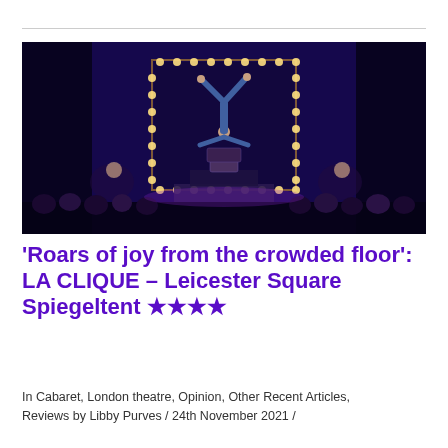[Figure (photo): A performer doing a handstand on top of stacked suitcases on a stage, illuminated by dramatic blue and purple stage lighting, with audience visible in the foreground and musicians in the background inside a glowing marquee-lit frame.]
'Roars of joy from the crowded floor': LA CLIQUE – Leicester Square Spiegeltent ★★★★
In Cabaret, London theatre, Opinion, Other Recent Articles, Reviews by Libby Purves / 24th November 2021 /